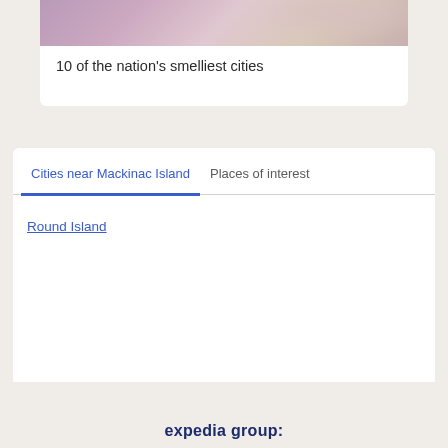[Figure (photo): Photo of a woman with long brown hair holding purple lavender flowers, cropped at top of page]
10 of the nation's smelliest cities
Cities near Mackinac Island
Places of interest
Round Island
expedia group: